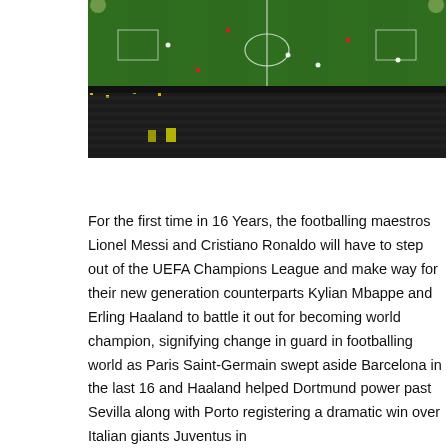[Figure (photo): Aerial view of a football stadium during a match at night, with a green pitch, players visible, and a large crowd filling the stands in the foreground.]
For the first time in 16 Years, the footballing maestros Lionel Messi and Cristiano Ronaldo will have to step out of the UEFA Champions League and make way for their new generation counterparts Kylian Mbappe and Erling Haaland to battle it out for becoming world champion, signifying change in guard in footballing world as Paris Saint-Germain swept aside Barcelona in the last 16 and Haaland helped Dortmund power past Sevilla along with Porto registering a dramatic win over Italian giants Juventus in